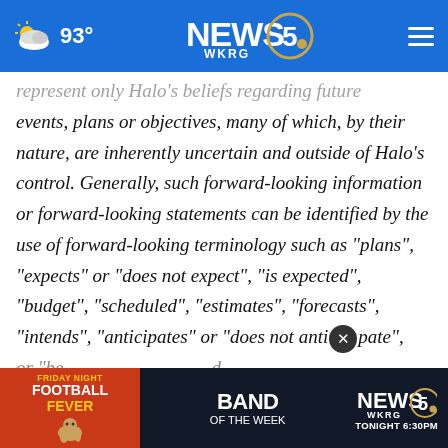NEWS 5 WKRG | 93°
represent only Halo's beliefs regarding future events, plans or objectives, many of which, by their nature, are inherently uncertain and outside of Halo's control. Generally, such forward-looking information or forward-looking statements can be identified by the use of forward-looking terminology such as "plans", "expects" or "does not expect", "is expected", "budget", "scheduled", "estimates", "forecasts", "intends", "anticipates" or "does not anticipate", or "believes" and similar phrases or may contain statements that certain
[Figure (screenshot): WKRG News 5 advertisement banner: Friday Night Football Fever - Band of the Week Tonight 6:30PM]